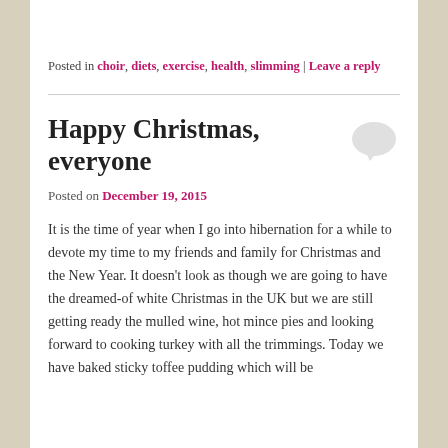Posted in choir, diets, exercise, health, slimming | Leave a reply
Happy Christmas, everyone
Posted on December 19, 2015
It is the time of year when I go into hibernation for a while to devote my time to my friends and family for Christmas and the New Year. It doesn't look as though we are going to have the dreamed-of white Christmas in the UK but we are still getting ready the mulled wine, hot mince pies and looking forward to cooking turkey with all the trimmings. Today we have baked sticky toffee pudding which will be